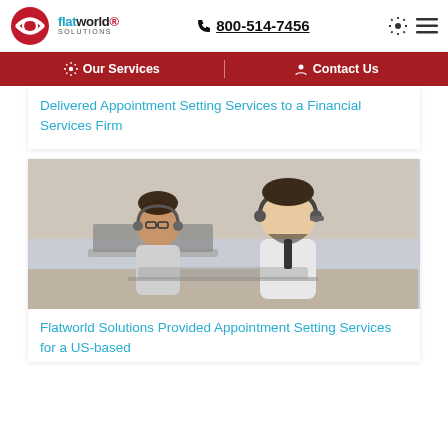flatworld solutions | 800-514-7456
Our Services | Contact Us
Delivered Appointment Setting Services to a Financial Services Firm
[Figure (photo): Call center employees wearing headsets and working on laptops]
Flatworld Solutions Provided Appointment Setting Services for a US-based